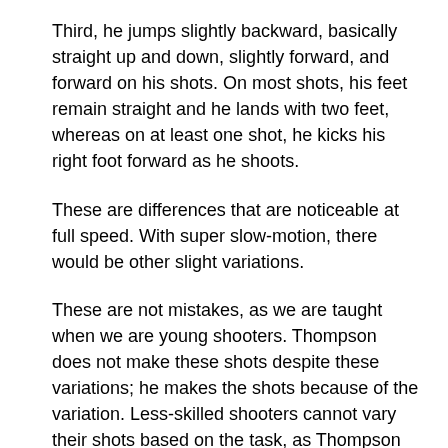Third, he jumps slightly backward, basically straight up and down, slightly forward, and forward on his shots. On most shots, his feet remain straight and he lands with two feet, whereas on at least one shot, he kicks his right foot forward as he shoots.
These are differences that are noticeable at full speed. With super slow-motion, there would be other slight variations.
These are not mistakes, as we are taught when we are young shooters. Thompson does not make these shots despite these variations; he makes the shots because of the variation. Less-skilled shooters cannot vary their shots based on the task, as Thompson demonstrated. Thompson's variability illustrates his expertise.